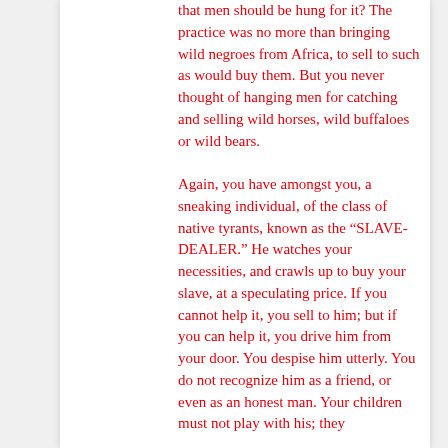that men should be hung for it? The practice was no more than bringing wild negroes from Africa, to sell to such as would buy them. But you never thought of hanging men for catching and selling wild horses, wild buffaloes or wild bears.

Again, you have amongst you, a sneaking individual, of the class of native tyrants, known as the “SLAVE-DEALER.” He watches your necessities, and crawls up to buy your slave, at a speculating price. If you cannot help it, you sell to him; but if you can help it, you drive him from your door. You despise him utterly. You do not recognize him as a friend, or even as an honest man. Your children must not play with his; they